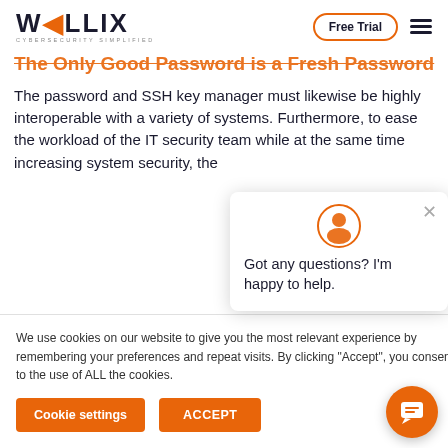WALLIX - CYBERSECURITY SIMPLIFIED | Free Trial | Menu
The Only Good Password is a Fresh Password
The password and SSH key manager must likewise be highly interoperable with a variety of systems. Furthermore, to ease the workload of the IT security team while at the same time increasing system security, the [solution] that allows for [automation] hackers, or bad [actors] tside of
We use cookies on our website to give you the most relevant experience by remembering your preferences and repeat visits. By clicking "Accept", you consent to the use of ALL the cookies.
Got any questions? I'm happy to help.